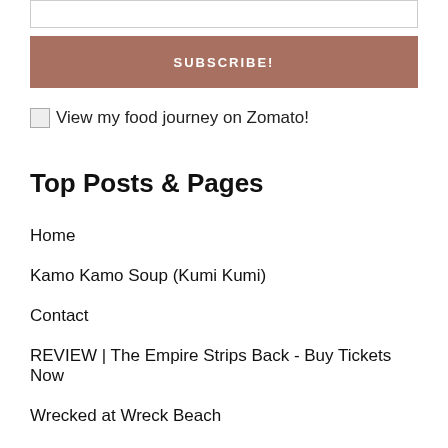[Figure (other): Empty input text field with border]
SUBSCRIBE!
[Figure (other): Broken image placeholder followed by text: View my food journey on Zomato!]
Top Posts & Pages
Home
Kamo Kamo Soup (Kumi Kumi)
Contact
REVIEW | The Empire Strips Back - Buy Tickets Now
Wrecked at Wreck Beach